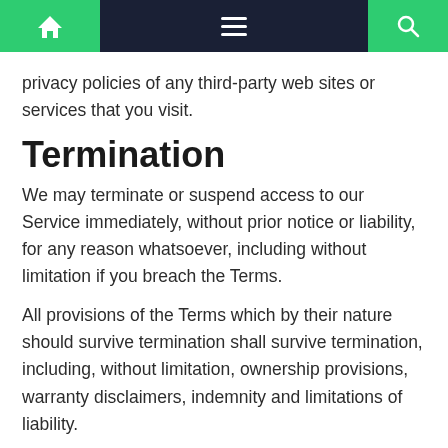Navigation bar with home, menu, and search icons
privacy policies of any third-party web sites or services that you visit.
Termination
We may terminate or suspend access to our Service immediately, without prior notice or liability, for any reason whatsoever, including without limitation if you breach the Terms.
All provisions of the Terms which by their nature should survive termination shall survive termination, including, without limitation, ownership provisions, warranty disclaimers, indemnity and limitations of liability.
Disclaimer
Your use of the Service is at your sole risk. The Service is